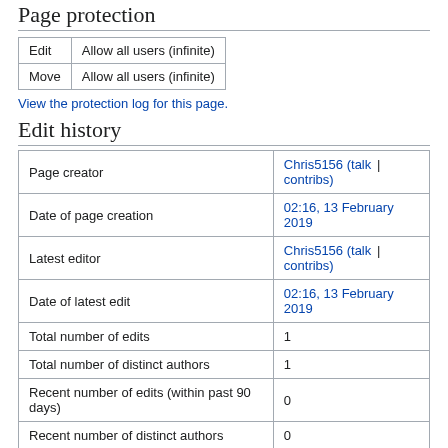Page protection
|  |  |
| --- | --- |
| Edit | Allow all users (infinite) |
| Move | Allow all users (infinite) |
View the protection log for this page.
Edit history
|  |  |
| --- | --- |
| Page creator | Chris5156 (talk | contribs) |
| Date of page creation | 02:16, 13 February 2019 |
| Latest editor | Chris5156 (talk | contribs) |
| Date of latest edit | 02:16, 13 February 2019 |
| Total number of edits | 1 |
| Total number of distinct authors | 1 |
| Recent number of edits (within past 90 days) | 0 |
| Recent number of distinct authors | 0 |
Page properties
| Magic word (1) |  |
| --- | --- |
| Magic word (1) | __NOTOC__ |